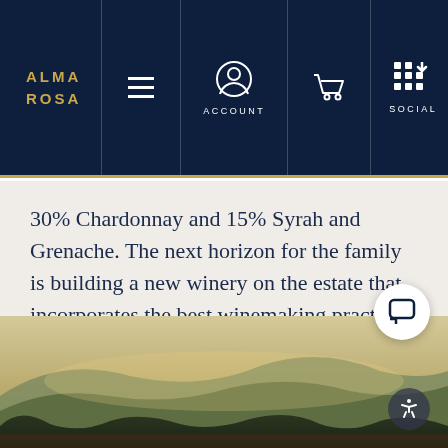ALMA ROSA | ACCOUNT | SOCIAL
30% Chardonnay and 15% Syrah and Grenache. The next horizon for the family is building a new winery on the estate that incorporates the best winemaking practices, while honoring the land and environment.
[Figure (photo): Landscape photograph of rolling hills and vineyards at golden hour with trees in the foreground]